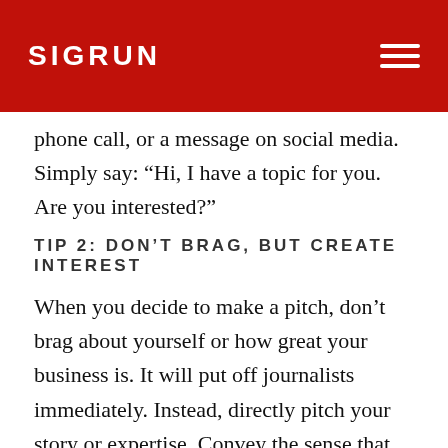SIGRUN
phone call, or a message on social media. Simply say: “Hi, I have a topic for you. Are you interested?”
TIP 2: DON’T BRAG, BUT CREATE INTEREST
When you decide to make a pitch, don’t brag about yourself or how great your business is. It will put off journalists immediately. Instead, directly pitch your story or expertise. Convey the sense that you have something interesting to say on a specific topic.